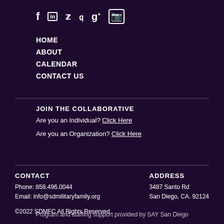[Figure (other): Social media icons: Facebook, LinkedIn, Twitter, Pinterest, Google+, Instagram]
HOME
ABOUT
CALENDAR
CONTACT US
JOIN THE COLLABORATIVE
Are you an Individual? Click Here
Are you an Organization? Click Here
CONTACT
Phone: 858.496.0044
Email: info@sdmilitaryfamily.org
ADDRESS
3487 Santo Rd
San Diego, CA. 92124
©2022 SDMFC All Rights Reserved
Program and staffing support provided by SAY San Diego